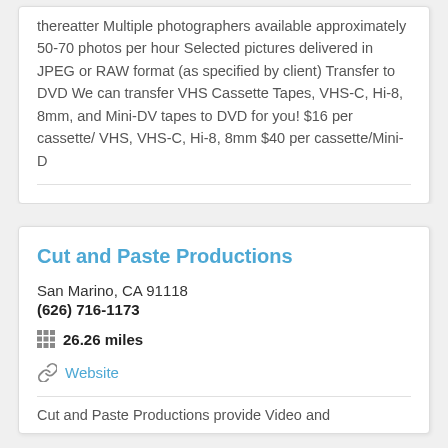thereatter Multiple photographers available approximately 50-70 photos per hour Selected pictures delivered in JPEG or RAW format (as specified by client) Transfer to DVD We can transfer VHS Cassette Tapes, VHS-C, Hi-8, 8mm, and Mini-DV tapes to DVD for you! $16 per cassette/ VHS, VHS-C, Hi-8, 8mm $40 per cassette/Mini-D
Cut and Paste Productions
San Marino, CA 91118
(626) 716-1173
26.26 miles
Website
Cut and Paste Productions provide Video and